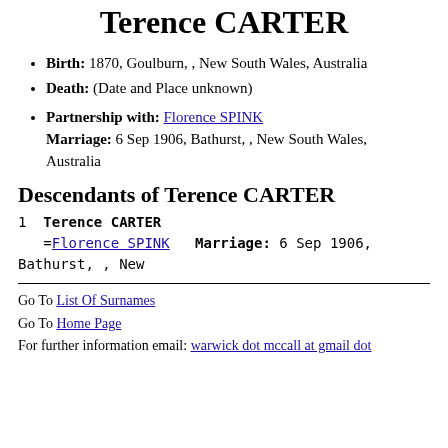Terence CARTER
Birth: 1870, Goulburn, , New South Wales, Australia
Death: (Date and Place unknown)
Partnership with: Florence SPINK Marriage: 6 Sep 1906, Bathurst, , New South Wales, Australia
Descendants of Terence CARTER
1  Terence CARTER
   =Florence SPINK    Marriage: 6 Sep 1906, Bathurst, , New
Go To List Of Surnames
Go To Home Page
For further information email: warwick dot mccall at gmail dot